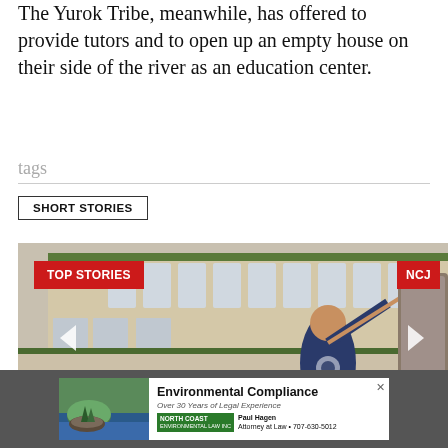The Yurok Tribe, meanwhile, has offered to provide tutors and to open up an empty house on their side of the river as an education center.
tags
SHORT STORIES
[Figure (photo): Photo of a performer in traditional dress playing drums at an outdoor festival, with a crowd of spectators and a large building in the background. Red badge TOP STORIES on left, NCJ badge on right.]
[Figure (infographic): Advertisement for North Coast Environmental Compliance law firm - Paul Hagen, Attorney at Law, 707-630-5012, Over 30 Years of Legal Experience]